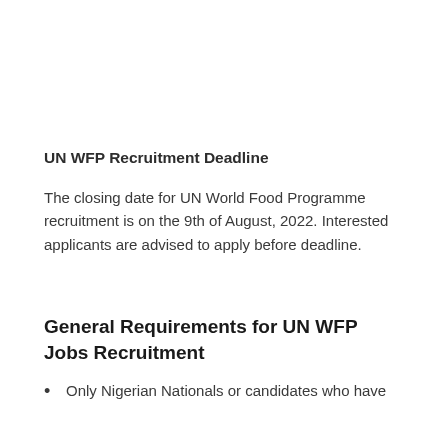UN WFP Recruitment Deadline
The closing date for UN World Food Programme recruitment is on the 9th of August, 2022. Interested applicants are advised to apply before deadline.
General Requirements for UN WFP Jobs Recruitment
Only Nigerian Nationals or candidates who have